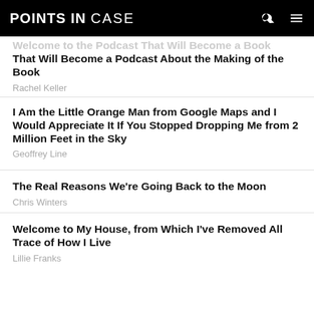POINTS IN CASE
Welcome to the Podcast That Will Become a Book That Will Become a Podcast About the Making of the Book
Rachel Keller
I Am the Little Orange Man from Google Maps and I Would Appreciate It If You Stopped Dropping Me from 2 Million Feet in the Sky
Geoffrey Line
The Real Reasons We're Going Back to the Moon
Chris Winters
Welcome to My House, from Which I've Removed All Trace of How I Live
Lillie Franks